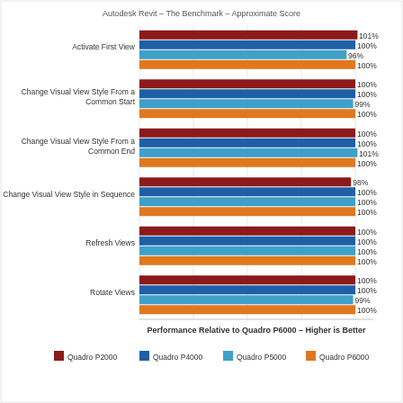[Figure (grouped-bar-chart): Autodesk Revit – The Benchmark – Approximate Score]